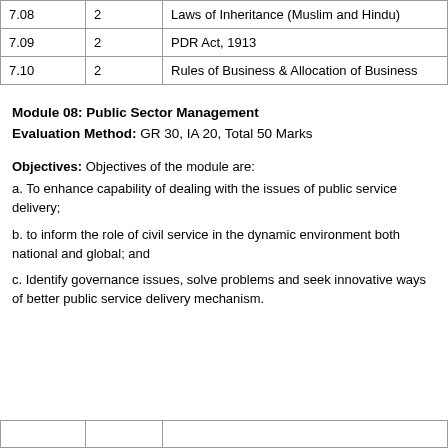|  |  |  |
| --- | --- | --- |
| 7.08 | 2 | Laws of Inheritance (Muslim and Hindu) |
| 7.09 | 2 | PDR Act, 1913 |
| 7.10 | 2 | Rules of Business & Allocation of Business |
Module 08: Public Sector Management
Evaluation Method: GR 30, IA 20, Total 50 Marks
Objectives: Objectives of the module are:
a. To enhance capability of dealing with the issues of public service delivery;
b. to inform the role of civil service in the dynamic environment both national and global; and
c. Identify governance issues, solve problems and seek innovative ways of better public service delivery mechanism.
|  |  |  |
| --- | --- | --- |
|  |  |  |